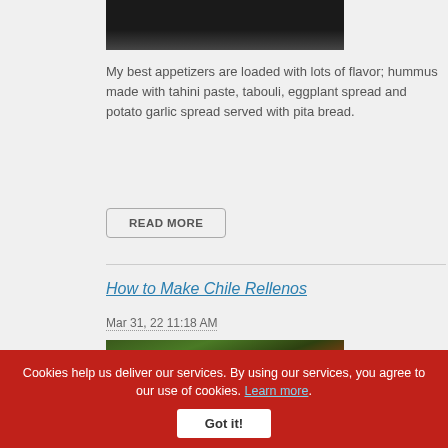[Figure (photo): Partial photo of food/dish, cropped at top]
My best appetizers are loaded with lots of flavor; hummus made with tahini paste, tabouli, eggplant spread and potato garlic spread served with pita bread.
READ MORE
How to Make Chile Rellenos
Mar 31, 22 11:18 AM
[Figure (photo): Photo of a chile relleno dish on a green plate with sauce]
Cookies help us deliver our services. By using our services, you agree to our use of cookies. Learn more.
Got it!